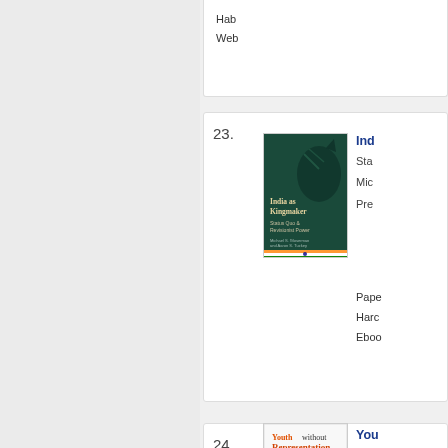Web
23.
[Figure (photo): Book cover of 'India as Kingmaker: Status Quo or Revisionist Power' on dark green background with tiger illustration]
Ind
Sta
Mic
Pre
Pape
Harc
Eboo
24.
[Figure (photo): Book cover of 'Youth without Representation: The Absence of Young Adults in Parliaments, Cabinets, and Candidacies' with crowd protest photo]
You
The
Dan
Why